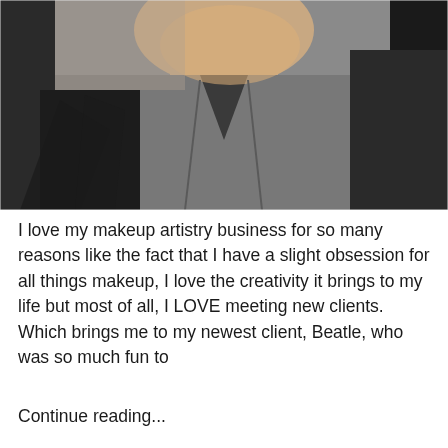[Figure (photo): Close-up selfie photo of a person from the neck/chest area, wearing a grey top. The image shows sunlight and shadows across the body. Dark background on sides.]
I love my makeup artistry business for so many reasons like the fact that I have a slight obsession for all things makeup, I love the creativity it brings to my life but most of all, I LOVE meeting new clients. Which brings me to my newest client, Beatle, who was so much fun to
Continue reading...